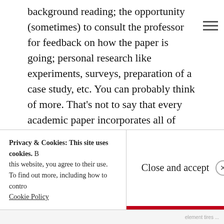background reading; the opportunity (sometimes) to consult the professor for feedback on how the paper is going; personal research like experiments, surveys, preparation of a case study, etc. You can probably think of more. That's not to say that every academic paper incorporates all of these features. We've all seen plenty that are hastily and carelessly done and aren't any better than a 9th grader's ramblings on whatever. But the potential is there.
Blogs are great for getting students into a place where they write fluently, and they create opportunities for teachers to give feedback and criticism that is a little
Privacy & Cookies: This site uses cookies. By continuing to use this website, you agree to their use. To find out more, including how to control cookies, see here: Cookie Policy
Close and accept